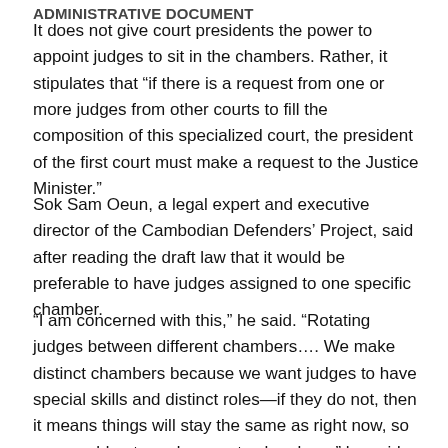ADMINISTRATIVE DOCUMENT
It does not give court presidents the power to appoint judges to sit in the chambers. Rather, it stipulates that “if there is a request from one or more judges from other courts to fill the composition of this specialized court, the president of the first court must make a request to the Justice Minister.”
Sok Sam Oeun, a legal expert and executive director of the Cambodian Defenders’ Project, said after reading the draft law that it would be preferable to have judges assigned to one specific chamber.
“I am concerned with this,” he said. “Rotating judges between different chambers…. We make distinct chambers because we want judges to have special skills and distinct roles—if they do not, then it means things will stay the same as right now, so you would not need separate chambers,” he said.